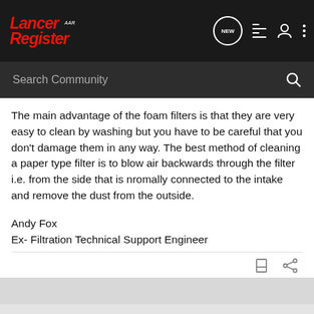Lancer Register — NEW (nav icons)
The main advantage of the foam filters is that they are very easy to clean by washing but you have to be careful that you don't damage them in any way. The best method of cleaning a paper type filter is to blow air backwards through the filter i.e. from the side that is nromally connected to the intake and remove the dust from the outside.
Andy Fox
Ex- Filtration Technical Support Engineer
1 - 7 of 7 Posts